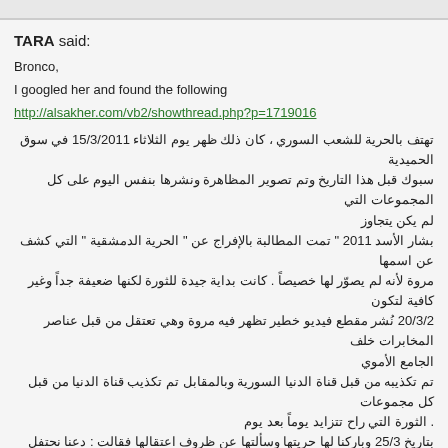TARA said:
Bronco,
I googled her and found the following
http://alsakher.com/vb2/showthread.php?p=1719016
تهتف بالحرية للشعب السوري ، كان ذلك ظهر يوم الثلاثاء 15/3/2011 في سوق الحميدية
سبوك قبل هذا التاريخ وتم تصوير المظاهرة ونشرها بنفس اليوم على كل المجموعات التي
لم يكن يتجاوز
بشار الأسد 2011 " تمت المطالبة بالإفراج عن " الحرية الدمشقية " التي كشف عن اسمها
مروة لأنه لم يصوّر لها خصيصاً . كانت بداية جيدة للثورة لكنها ضعيفة جداً وغير كافية لتكون
20/3/2 نُشر مقطع فيديو خطير تظهر فيه مروة وهي تعتقل من قبل عناصر المخابرات خلف
الجامع الأموي
تم تكذيبه من قبل قناة الدنيا السورية وبالمقابل تم تكذيب قناة الدنيا من قبل كل مجموعات
. الثورة التي راح تتزايد يوماً بعد يوم
بتاريخ 25/3 وباركنا لها حريتها وسألتها عن ظروف اعتقالها فقالت : دعنا نحتفل بالحرية الآن
http://www.levantnews.com/index.php?option=com_content&view=category&id=
مروة الغميان اقتيدت لجهة مجهولة بعد اعتقالها مجدداً: "مفجرة الثورة السورية" أين غُيبت؟
الجزيرة. نت – الأحد، 02 تشرين1/أكتوبر 2011 04:54 بتوقيت دمشق
يأس المحققين من إلصاق تهم العمالة بها عقب اعتقالها في أول أيام الثورة السورية، فإن
في مطار دمشق الدولي أثناء محاولتها السفر في رحلة عادية، وتم اقتيادها إلى جهة مجهولة
بيها العلم السوري، ونادت بالحرية في سوق الحميدية وسط دمشق في منتصف مارس/آذار"
تل الإعلام تسجيلاً شهيراً لتعرضها للضرب والاعتقال على أيدي عناصر يرتدون ملابس مدنية
لها الذي امتد 12 يوماً، إلا أنها حظيت أخيرا بالحرية عندما لم يجد المحققون في كتاباتها على
موقع التواصل الاجتماعي (فيسبوك) أكثر من مبادرة شخصية للتظاهر السلمي
الولاء للشارع
ها المبكر، لكن نفسها التواقة إلى الحرية دفعتها للتمرد، وكان أقصى طموحها أن تنشط في
المجال الاجتماعي، وأن تساهم في زيادة الوعي بحقوق المرأة بعيداً عن ثقافة التغريب